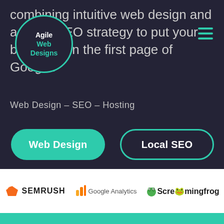[Figure (logo): Agile Web Designs circular logo with teal border on dark background]
combining intuitive web design and a Local SEO strategy to put your business on the first page of Google.
Web Design – SEO – Hosting
Web Design
Local SEO
[Figure (logo): SEMRUSH logo in orange]
[Figure (logo): Google Analytics logo]
[Figure (logo): Screaming Frog logo]